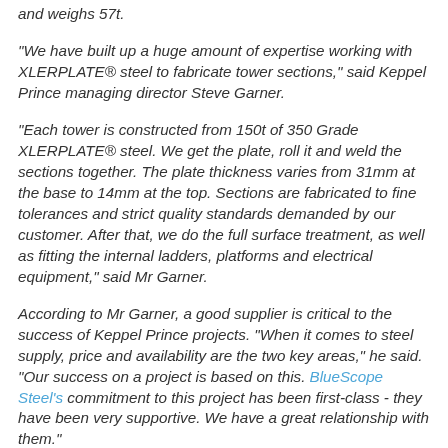and weighs 57t.
"We have built up a huge amount of expertise working with XLERPLATE® steel to fabricate tower sections," said Keppel Prince managing director Steve Garner.
"Each tower is constructed from 150t of 350 Grade XLERPLATE® steel. We get the plate, roll it and weld the sections together. The plate thickness varies from 31mm at the base to 14mm at the top. Sections are fabricated to fine tolerances and strict quality standards demanded by our customer. After that, we do the full surface treatment, as well as fitting the internal ladders, platforms and electrical equipment," said Mr Garner.
According to Mr Garner, a good supplier is critical to the success of Keppel Prince projects. "When it comes to steel supply, price and availability are the two key areas," he said. "Our success on a project is based on this. BlueScope Steel's commitment to this project has been first-class - they have been very supportive. We have a great relationship with them."